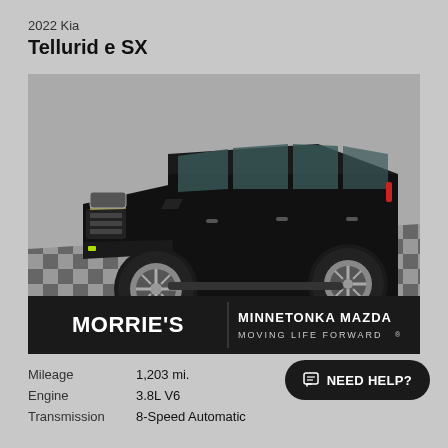2022 Kia
Telluride SX
[Figure (photo): Black 2022 Kia Telluride SX SUV parked on a checkered floor, photographed from driver-side front angle. Dealership branding bar at bottom: Morrie's Minnetonka Mazda, Moving Life Forward.]
Mileage   1,203 mi.
Engine   3.8L V6
Transmission   8-Speed Automatic